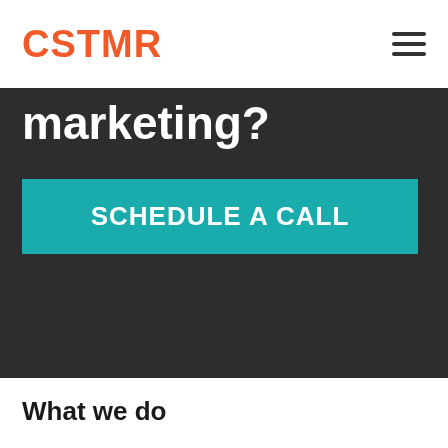CSTMR
marketing?
SCHEDULE A CALL
What we do
Marketing Strategy
Paid Media Advertising
Experience Design
Organic Marketing